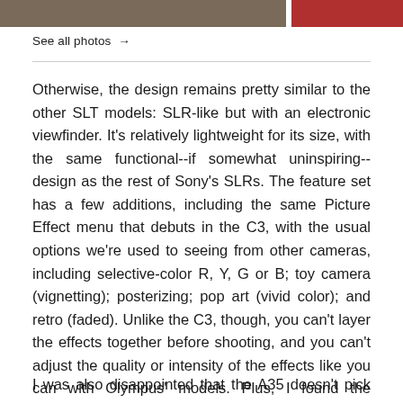[Figure (photo): Two partial photos — a dark-toned animal fur/texture on the left and a red-toned image on the right, cropped at the top of the page.]
See all photos →
Otherwise, the design remains pretty similar to the other SLT models: SLR-like but with an electronic viewfinder. It's relatively lightweight for its size, with the same functional--if somewhat uninspiring--design as the rest of Sony's SLRs. The feature set has a few additions, including the same Picture Effect menu that debuts in the C3, with the usual options we're used to seeing from other cameras, including selective-color R, Y, G or B; toy camera (vignetting); posterizing; pop art (vivid color); and retro (faded). Unlike the C3, though, you can't layer the effects together before shooting, and you can't adjust the quality or intensity of the effects like you can with Olympus' models. Plus, I found the selection of effects and their rendering to be just OK.
I was also disappointed that the A35 doesn't pick up